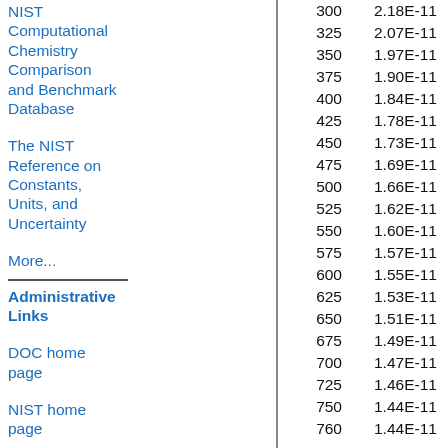NIST Computational Chemistry Comparison and Benchmark Database
The NIST Reference on Constants, Units, and Uncertainty
More...
Administrative Links
DOC home page
NIST home page
MML home page
| T | k |
| --- | --- |
| 300 | 2.18E-11 |
| 325 | 2.07E-11 |
| 350 | 1.97E-11 |
| 375 | 1.90E-11 |
| 400 | 1.84E-11 |
| 425 | 1.78E-11 |
| 450 | 1.73E-11 |
| 475 | 1.69E-11 |
| 500 | 1.66E-11 |
| 525 | 1.62E-11 |
| 550 | 1.60E-11 |
| 575 | 1.57E-11 |
| 600 | 1.55E-11 |
| 625 | 1.53E-11 |
| 650 | 1.51E-11 |
| 675 | 1.49E-11 |
| 700 | 1.47E-11 |
| 725 | 1.46E-11 |
| 750 | 1.44E-11 |
| 760 | 1.44E-11 |